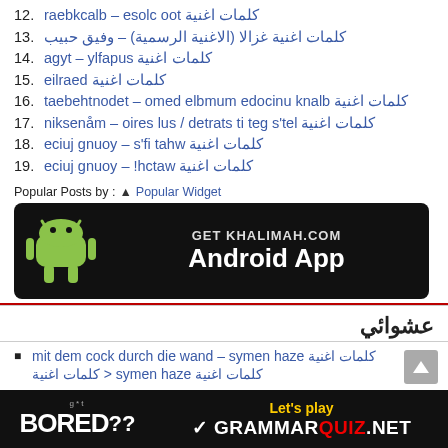12. كلمات اغنية too close – blackbear
13. كلمات اغنية غزالا (الاغنية الرسمية) – وفيق حبيب
14. كلمات اغنية supafly – tyga
15. كلمات اغنية dearlie
16. كلمات اغنية blank unicode mumble demo – tedonthebeat
17. كلمات اغنية let's get it started / sul serio – måneskin
18. كلمات اغنية what if's – young juice
19. كلمات اغنية watch! – young juice
Popular Posts by : ▲ Popular Widget
[Figure (infographic): GET KHALIMAH.COM Android App banner with Android robot logo on black background]
عشوائي
mit dem cock durch die wand – symen haze كلمات اغنية
كلمات اغنية > symen haze كلمات اغنية
[Figure (infographic): BORED?? Let's play GRAMMARQUIZ.NET advertisement banner]